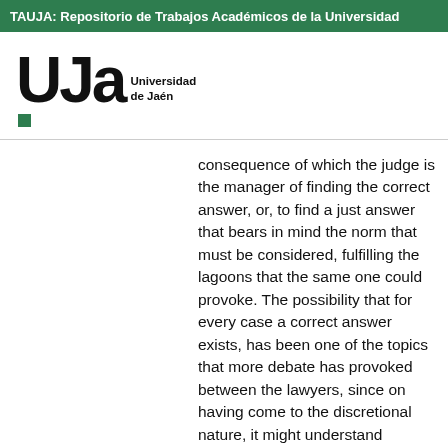TAUJA: Repositorio de Trabajos Académicos de la Universidad
[Figure (logo): UJa Universidad de Jaén logo with green square]
consequence of which the judge is the manager of finding the correct answer, or, to find a just answer that bears in mind the norm that must be considered, fulfilling the lagoons that the same one could provoke. The possibility that for every case a correct answer exists, has been one of the topics that more debate has provoked between the lawyers, since on having come to the discretional nature, it might understand